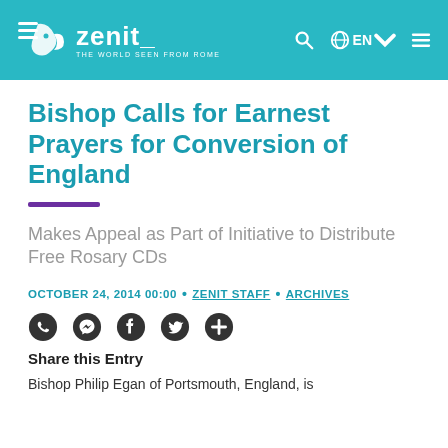zenit_ THE WORLD SEEN FROM ROME
Bishop Calls for Earnest Prayers for Conversion of England
Makes Appeal as Part of Initiative to Distribute Free Rosary CDs
OCTOBER 24, 2014 00:00 • ZENIT STAFF • ARCHIVES
Share this Entry
Bishop Philip Egan of Portsmouth, England, is